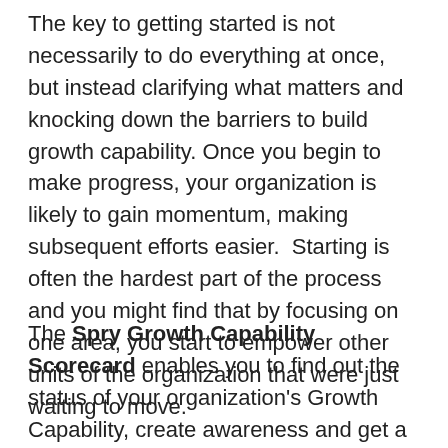The key to getting started is not necessarily to do everything at once, but instead clarifying what matters and knocking down the barriers to build growth capability. Once you begin to make progress, your organization is likely to gain momentum, making subsequent efforts easier.  Starting is often the hardest part of the process and you might find that by focusing on one area, you start to empower other units of the organization that were just waiting to move.
The Spry Growth Capability Scorecard enables you to find out the status of your organization's Growth Capability, create awareness and get a recommended action plan to put funds